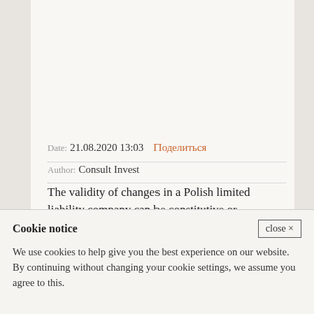Date: 21.08.2020 13:03   Поделиться
Author: Consult Invest
The validity of changes in a Polish limited liability company can be constitutive or declarative.
Therefore, when making changes to a limited liability company, we should be aware that some of them will come
Cookie notice
We use cookies to help give you the best experience on our website. By continuing without changing your cookie settings, we assume you agree to this.